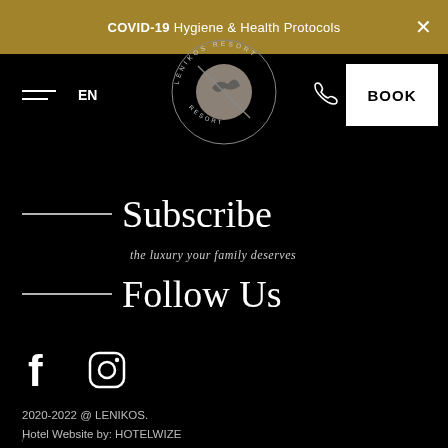COVID-19 Hygiene & Health Protocols
[Figure (logo): Lenikos Resort circular logo with bird silhouette and text around circumference]
Subscribe
the luxury your family deserves
Follow Us
[Figure (infographic): Facebook and Instagram social media icons in white on black background]
2020-2022 @ LENIKOS.
Hotel Website by: HOTELWIZE